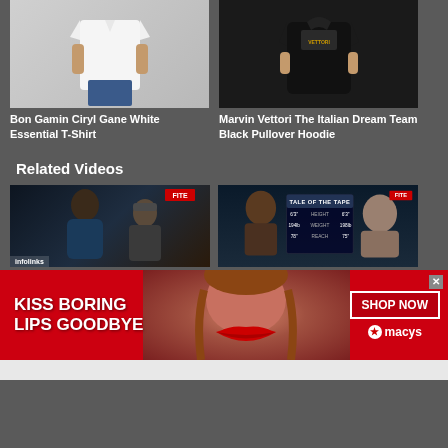[Figure (photo): White t-shirt product photo (Bon Gamin Ciryl Gane)]
[Figure (photo): Black pullover hoodie product photo (Marvin Vettori Italian Dream Team)]
Bon Gamin Ciryl Gane White Essential T-Shirt
Marvin Vettori The Italian Dream Team Black Pullover Hoodie
Related Videos
[Figure (screenshot): Video thumbnail showing MMA fighters up close, with infolinks badge]
[Figure (screenshot): Video thumbnail showing Tale of the Tape MMA stat comparison with two fighters]
[Figure (photo): Advertisement banner: KISS BORING LIPS GOODBYE - SHOP NOW - macys star logo, woman with red lips]